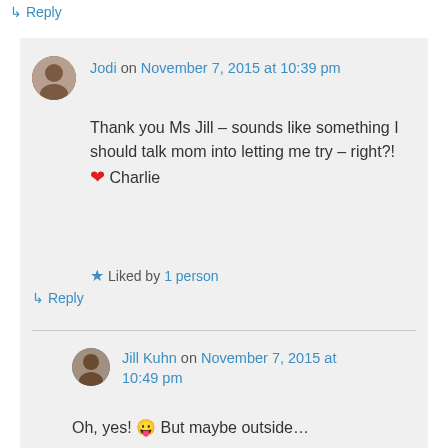↳ Reply
Jodi on November 7, 2015 at 10:39 pm
Thank you Ms Jill – sounds like something I should talk mom into letting me try – right?! ❤ Charlie
★ Liked by 1 person
↳ Reply
Jill Kuhn on November 7, 2015 at 10:49 pm
Oh, yes! 😛 But maybe outside…
★ Like